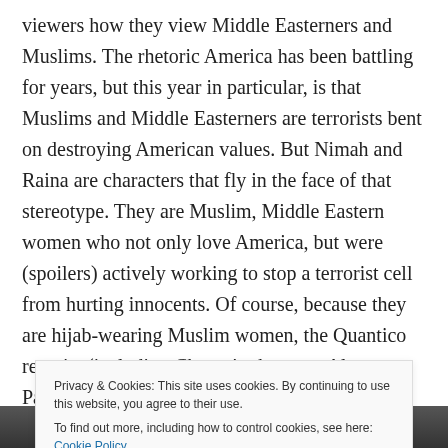viewers how they view Middle Easterners and Muslims. The rhetoric America has been battling for years, but this year in particular, is that Muslims and Middle Easterners are terrorists bent on destroying American values. But Nimah and Raina are characters that fly in the face of that stereotype. They are Muslim, Middle Eastern women who not only love America, but were (spoilers) actively working to stop a terrorist cell from hurting innocents. Of course, because they are hijab-wearing Muslim women, the Quantico recruits (including Chopra's character Alex Parrish) wrongly believe they are the terrorists (until they're
Privacy & Cookies: This site uses cookies. By continuing to use this website, you agree to their use.
To find out more, including how to control cookies, see here: Cookie Policy
Close and accept
[Figure (photo): Partial view of a photo at the bottom of the page, appears to show people]